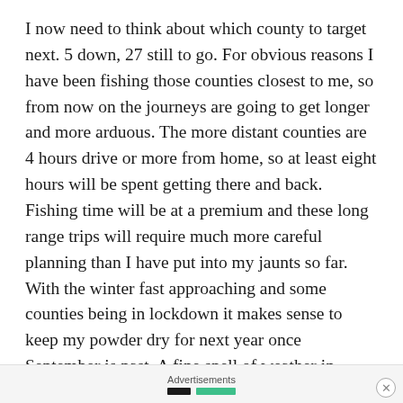I now need to think about which county to target next. 5 down, 27 still to go. For obvious reasons I have been fishing those counties closest to me, so from now on the journeys are going to get longer and more arduous. The more distant counties are 4 hours drive or more from home, so at least eight hours will be spent getting there and back. Fishing time will be at a premium and these long range trips will require much more careful planning than I have put into my jaunts so far. With the winter fast approaching and some counties being in lockdown it makes sense to keep my powder dry for next year once September is past. A fine spell of weather in October/November might tempt me out to fish for Pike but other than that I will hunker down and make
Advertisements